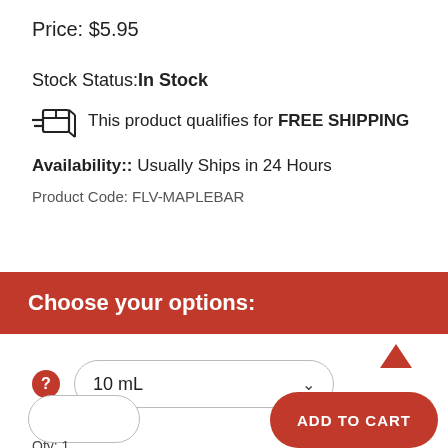Price: $5.95
Stock Status:In Stock
This product qualifies for FREE SHIPPING
Availability:: Usually Ships in 24 Hours
Product Code: FLV-MAPLEBAR
Choose your options:
10 mL
ADD TO CART